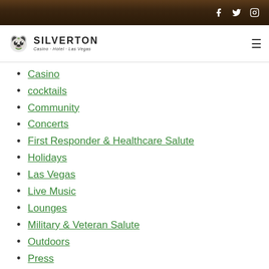Silverton Casino Hotel Las Vegas - social icons: Facebook, Twitter, Instagram
[Figure (logo): Silverton Casino Hotel Las Vegas logo with raccoon icon]
Casino
cocktails
Community
Concerts
First Responder & Healthcare Salute
Holidays
Las Vegas
Live Music
Lounges
Military & Veteran Salute
Outdoors
Press
Renovation
Restaurants